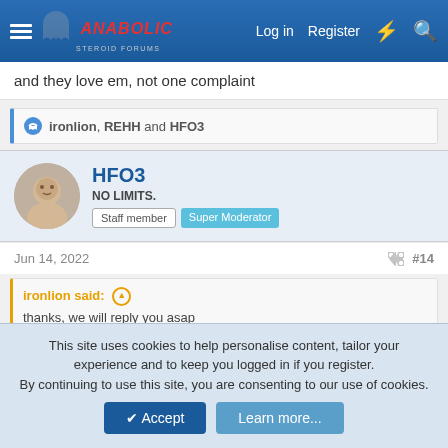Anabolic Steroid Forums — Log in | Register
and they love em, not one complaint
ironlion, REHH and HFO3
HFO3
NO LIMITS.
Staff member | Super Moderator
Jun 14, 2022 #14
ironlion said: thanks, we will reply you asap
IL is the best HGH provider and he literally gets right back with you.
This site uses cookies to help personalise content, tailor your experience and to keep you logged in if you register.
By continuing to use this site, you are consenting to our use of cookies.